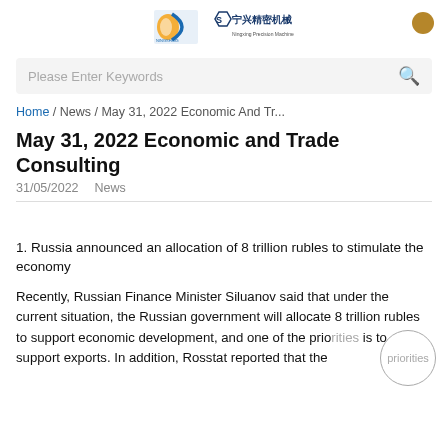[Figure (logo): NINGSHING and Ningxing Precision Machinery logos side by side]
Please Enter Keywords
Home / News / May 31, 2022 Economic And Tr...
May 31, 2022 Economic and Trade Consulting
31/05/2022   News
1. Russia announced an allocation of 8 trillion rubles to stimulate the economy
Recently, Russian Finance Minister Siluanov said that under the current situation, the Russian government will allocate 8 trillion rubles to support economic development, and one of the priorities is to support exports. In addition, Rosstat reported that the